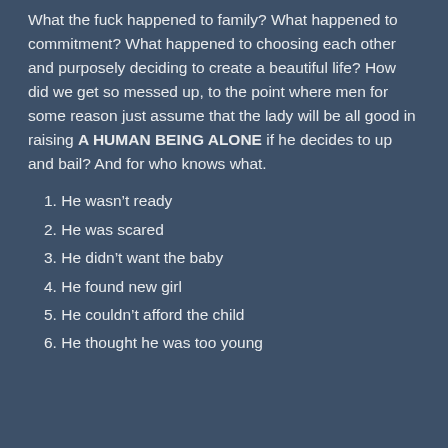What the fuck happened to family? What happened to commitment? What happened to choosing each other and purposely deciding to create a beautiful life? How did we get so messed up, to the point where men for some reason just assume that the lady will be all good in raising A HUMAN BEING ALONE if he decides to up and bail? And for who knows what.
1. He wasn't ready
2. He was scared
3. He didn't want the baby
4. He found new girl
5. He couldn't afford the child
6. He thought he was too young